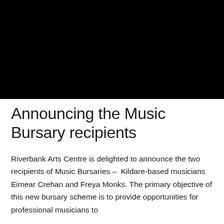[Figure (photo): Black rectangle representing a photo/image placeholder at the top of the page]
Announcing the Music Bursary recipients
Riverbank Arts Centre is delighted to announce the two recipients of Music Bursaries – Kildare-based musicians Eimear Crehan and Freya Monks. The primary objective of this new bursary scheme is to provide opportunities for professional musicians to